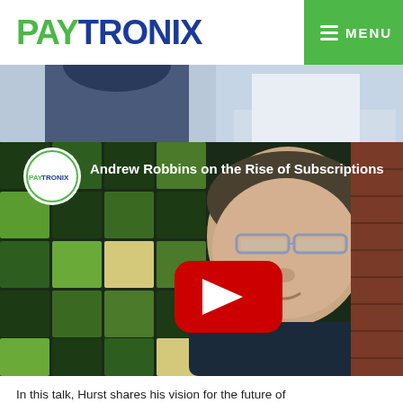PAYTRONIX | MENU
[Figure (photo): Partial photo of two people in conversation, cropped view showing torsos]
[Figure (screenshot): YouTube video thumbnail showing Andrew Robbins on the Rise of Subscriptions, with Paytronix logo overlay and YouTube play button, featuring a man with glasses against a green geometric tile background and brick wall]
In this talk, Hurst shares his vision for the future of